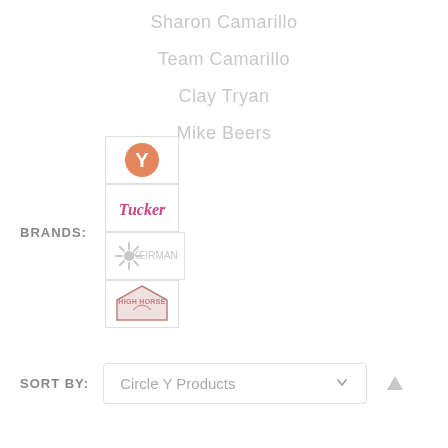Sharon Camarillo
Team Camarillo
Clay Tryan
Mike Beers
BRANDS:
[Figure (logo): Row of brand logos: Circle Y (orange circle with Y), Tucker (pink italic text), Keirman (spinner/sunburst graphic), High Horse (mountain badge logo)]
SORT BY: Circle Y Products